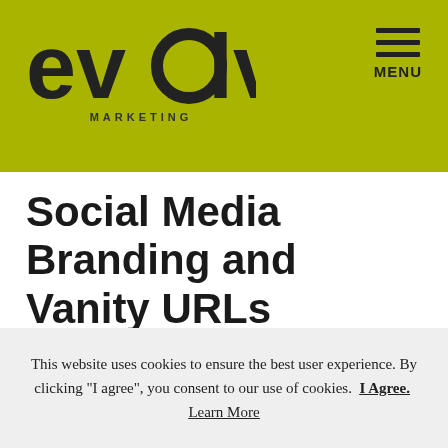evolve MARKETING — MENU
Social Media Branding and Vanity URLs
[Figure (screenshot): Screenshot of a Facebook page for Evolve Creative Group with overlapping browser tabs showing YouTube tab with URL www.youtube.com/yourbrandhere and a Twitter tab]
This website uses cookies to ensure the best user experience. By clicking "I agree", you consent to our use of cookies.  I Agree.  Learn More